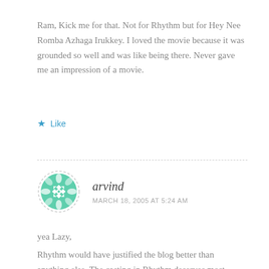Ram, Kick me for that. Not for Rhythm but for Hey Nee Romba Azhaga Irukkey. I loved the movie because it was grounded so well and was like being there. Never gave me an impression of a movie.
★ Like
arvind
MARCH 18, 2005 AT 5:24 AM
yea Lazy,
Rhythm would have justified the blog better than anything else. The casting in Rhythm deserves most applause. Who could imagine Meena in such a strong